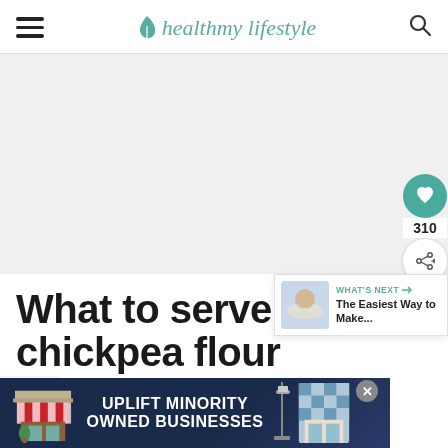health my lifestyle
[Figure (other): Large light gray placeholder image area for article hero photo]
[Figure (other): Heart/like button showing 310 likes and a share button on the right side]
[Figure (other): What's Next panel with thumbnail and text: The Easiest Way to Make...]
What to serve with chickpea flour
[Figure (other): Advertisement banner: UPLIFT MINORITY OWNED BUSINESSES with storefront illustration]